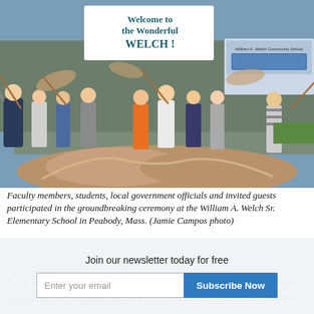[Figure (photo): Groundbreaking ceremony at William A. Welch Sr. Elementary School in Peabody, Mass. Faculty members, students, and local government officials toss sand/dirt with shovels. A sign in the background reads 'Welcome to the Wonderful WELCH!' Another sign shows a rendering of the William A. Welch Community School.]
Faculty members, students, local government officials and invited guests participated in the groundbreaking ceremony at the William A. Welch Sr. Elementary School in Peabody, Mass. (Jamie Campos photo)
City officials in Peabody, Mass., broke ground on a major upgrade for William A. Welch Elementary School last month...